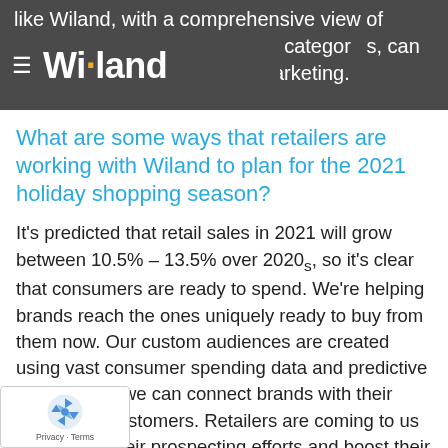like Wiland, with a comprehensive view of consumer spending across all categories, can provide to inform customer marketing.
What are some ways that retailers are working with Wiland to plan for the 2021 holiday shopping season?
It's predicted that retail sales in 2021 will grow between 10.5% – 13.5% over 2020s, so it's clear that consumers are ready to spend. We're helping brands reach the ones uniquely ready to buy from them now. Our custom audiences are created using vast consumer spending data and predictive analytics, so we can connect brands with their best future customers. Retailers are coming to us to ramp up their prospecting efforts and boost their acquisition results in both direct mail and digital channels. We're also helping clients r digital audiences in their campaigns through naged Display Campaigns—a turnkey solution we build and activate the audience, manage and optimize the media buying, and track campaign